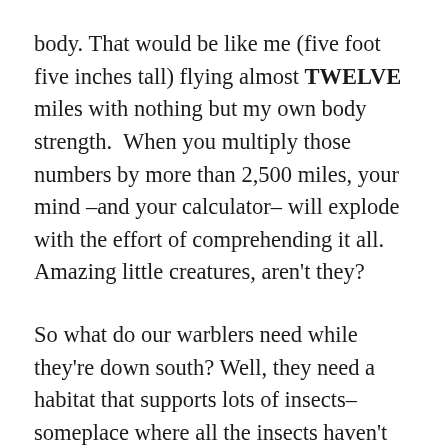body. That would be like me (five foot five inches tall) flying almost TWELVE miles with nothing but my own body strength.  When you multiply those numbers by more than 2,500 miles, your mind –and your calculator– will explode with the effort of comprehending it all. Amazing little creatures, aren't they?
So what do our warblers need while they're down south? Well, they need a habitat that supports lots of insects–someplace where all the insects haven't been killed with pesticides. Up until a few decades ago they found a wonderful supply of insects on coffee farms, where coffee